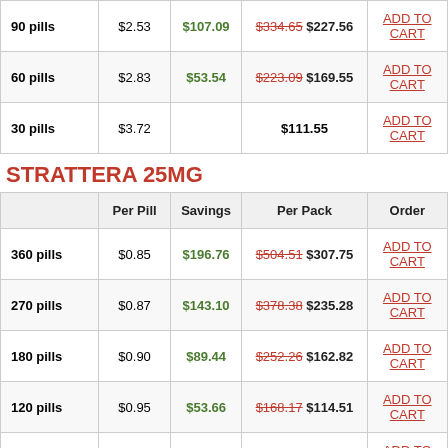| 90 pills | $2.53 | $107.09 | $334.65 $227.56 | ADD TO CART |
| 60 pills | $2.83 | $53.54 | $223.09 $169.55 | ADD TO CART |
| 30 pills | $3.72 |  | $111.55 | ADD TO CART |
STRATTERA 25MG
|  | Per Pill | Savings | Per Pack | Order |
| --- | --- | --- | --- | --- |
| 360 pills | $0.85 | $196.76 | $504.51 $307.75 | ADD TO CART |
| 270 pills | $0.87 | $143.10 | $378.38 $235.28 | ADD TO CART |
| 180 pills | $0.90 | $89.44 | $252.26 $162.82 | ADD TO CART |
| 120 pills | $0.95 | $53.66 | $168.17 $114.51 | ADD TO CART |
| 90 pills | $1.00 | $35.77 | $126.12 $90.35 | ADD TO CART |